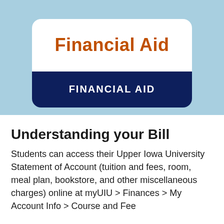[Figure (illustration): Financial Aid header card with white rounded top section showing 'Financial Aid' in orange bold text, and a navy blue bottom section with 'FINANCIAL AID' in white bold uppercase text, set against a light blue background.]
Understanding your Bill
Students can access their Upper Iowa University Statement of Account (tuition and fees, room, meal plan, bookstore, and other miscellaneous charges) online at myUIU > Finances > My Account Info > Course and Fee